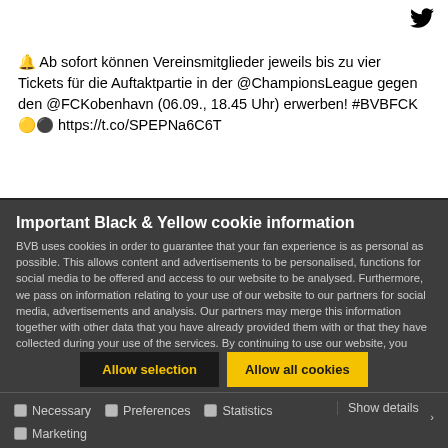🔔 Ab sofort können Vereinsmitglieder jeweils bis zu vier Tickets für die Auftaktpartie in der @ChampionsLeague gegen den @FCKobenhavn (06.09., 18.45 Uhr) erwerben! #BVBFCK 🟡⚫ https://t.co/SPEPNa6C6T
Important Black & Yellow cookie information
BVB uses cookies in order to guarantee that your fan experience is as personal as possible. This allows content and advertisements to be personalised, functions for social media to be offered and access to our website to be analysed. Furthermore, we pass on information relating to your use of our website to our partners for social media, advertisements and analysis. Our partners may merge this information together with other data that you have already provided them with or that they have collected during your use of the services. By continuing to use our website, you consent to the cookies.
Allow selection | Allow all cookies
Necessary | Preferences | Statistics | Marketing | Show details